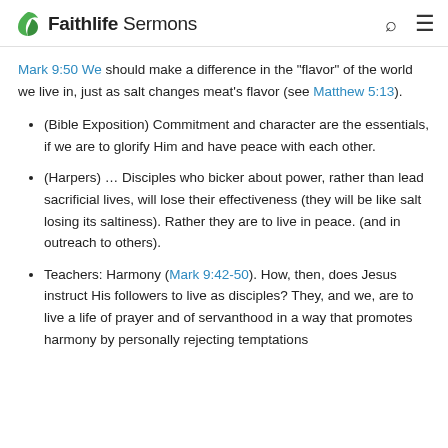Faithlife Sermons
Mark 9:50 We should make a difference in the "flavor" of the world we live in, just as salt changes meat's flavor (see Matthew 5:13).
(Bible Exposition) Commitment and character are the essentials, if we are to glorify Him and have peace with each other.
(Harpers) … Disciples who bicker about power, rather than lead sacrificial lives, will lose their effectiveness (they will be like salt losing its saltiness). Rather they are to live in peace. (and in outreach to others).
Teachers: Harmony (Mark 9:42-50). How, then, does Jesus instruct His followers to live as disciples? They, and we, are to live a life of prayer and of servanthood in a way that promotes harmony by personally rejecting temptations